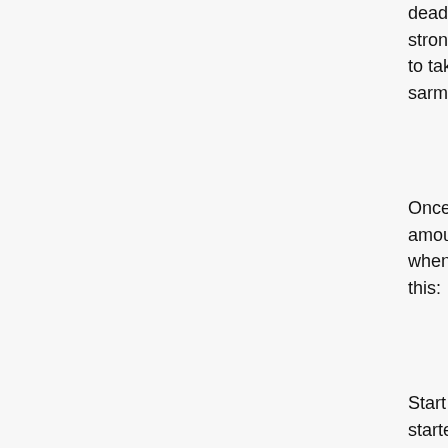deadlift. You'll start to feel that your whole body is getting really tight, and as we get stronger we can do more reps in the bench and deadlift, and eventually you'll be able to take a full, 3-hour break between sets and not even get sore, much less sore, sarms for sale.
Once I've had some success with 2-4 sets of 6 reps, which I think is a sensible amount of work, I've done a bit more with 3-4 sets of 4 reps, which is what I was doing when I decided to do a Dbol cycle. Here's my advice to anyone who decides to do this:
Start slow, sarms for sale! You'll be surprised how hard it is to really get started! I started out with 2-4 sets of 6 reps and then gradually worked myself up, gradually doing a bit more work and then having to take a short break, steroid cycle kidneys.